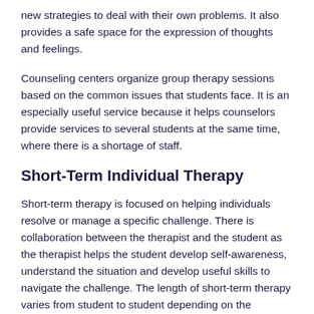new strategies to deal with their own problems. It also provides a safe space for the expression of thoughts and feelings.
Counseling centers organize group therapy sessions based on the common issues that students face. It is an especially useful service because it helps counselors provide services to several students at the same time, where there is a shortage of staff.
Short-Term Individual Therapy
Short-term therapy is focused on helping individuals resolve or manage a specific challenge. There is collaboration between the therapist and the student as the therapist helps the student develop self-awareness, understand the situation and develop useful skills to navigate the challenge. The length of short-term therapy varies from student to student depending on the student's needs. Some of the common issues addressed in short-term individual therapy are: